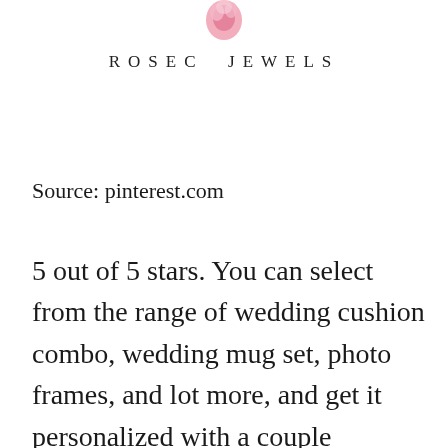[Figure (logo): Rosec Jewels logo — a pink rose/gemstone illustration above the brand name in spaced serif capitals]
Source: pinterest.com
5 out of 5 stars. You can select from the range of wedding cushion combo, wedding mug set, photo frames, and lot more, and get it personalized with a couple photograph of the bride and groom in one panel, and of your family in the other. Ad find deals on products on amazon. Get best